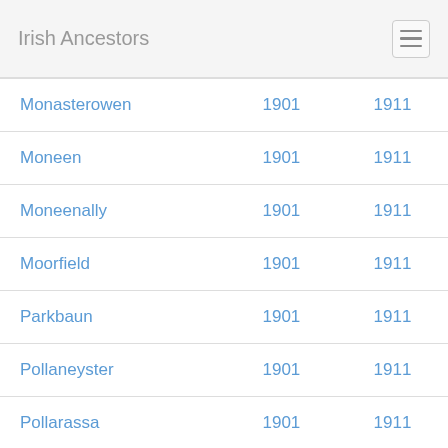Irish Ancestors
| Monasterowen | 1901 | 1911 |
| Moneen | 1901 | 1911 |
| Moneenally | 1901 | 1911 |
| Moorfield | 1901 | 1911 |
| Parkbaun | 1901 | 1911 |
| Pollaneyster | 1901 | 1911 |
| Pollarassa | 1901 | 1911 |
| Polleagh, North | 1901 | 1911 |